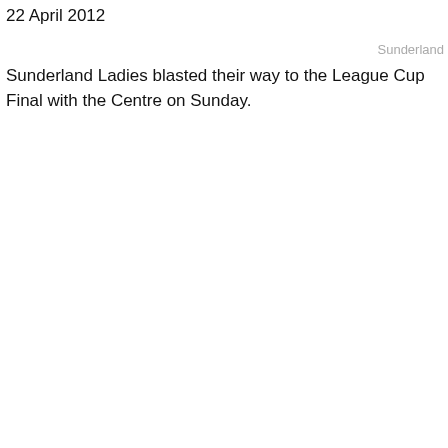22 April 2012
Sunderland
Sunderland Ladies blasted their way to the League Cup Final with the Centre on Sunday.